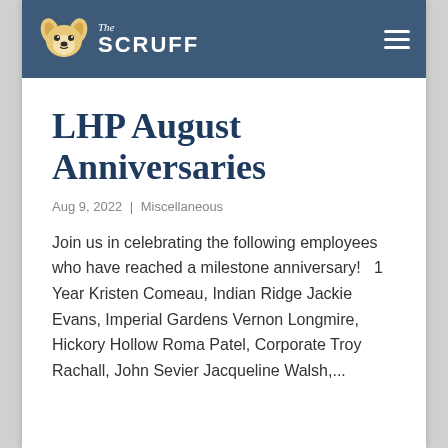The Scruff
LHP August Anniversaries
Aug 9, 2022 | Miscellaneous
Join us in celebrating the following employees who have reached a milestone anniversary!   1 Year Kristen Comeau, Indian Ridge Jackie Evans, Imperial Gardens Vernon Longmire, Hickory Hollow Roma Patel, Corporate Troy Rachall, John Sevier Jacqueline Walsh,...